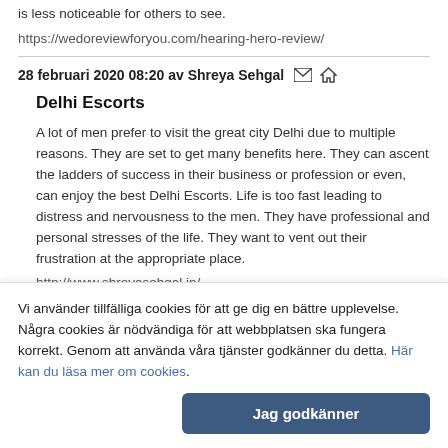is less noticeable for others to see.
https://wedoreviewforyou.com/hearing-hero-review/
28 februari 2020 08:20 av Shreya Sehgal
Delhi Escorts
A lot of men prefer to visit the great city Delhi due to multiple reasons. They are set to get many benefits here. They can ascent the ladders of success in their business or profession or even, can enjoy the best Delhi Escorts. Life is too fast leading to distress and nervousness to the men. They have professional and personal stresses of the life. They want to vent out their frustration at the appropriate place.
http://www.shreyasehgal.in/
Vi använder tillfälliga cookies för att ge dig en bättre upplevelse. Några cookies är nödvändiga för att webbplatsen ska fungera korrekt. Genom att använda våra tjänster godkänner du detta. Här kan du läsa mer om cookies.
Jag godkänner